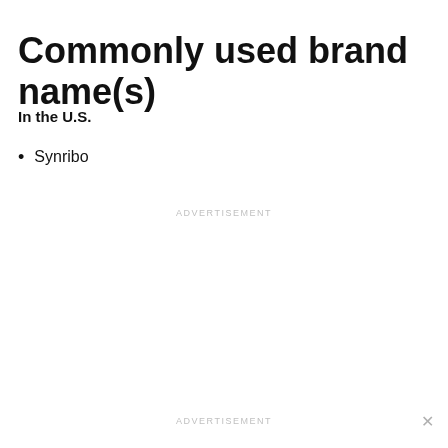Commonly used brand name(s)
In the U.S.
Synribo
ADVERTISEMENT
ADVERTISEMENT